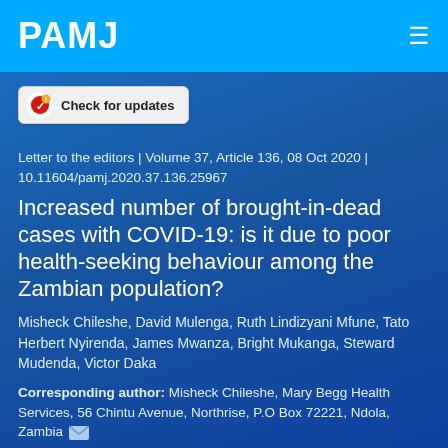PAMJ
[Figure (logo): Check for updates badge with Crossmark logo]
Letter to the editors | Volume 37, Article 136, 08 Oct 2020 | 10.11604/pamj.2020.37.136.25967
Increased number of brought-in-dead cases with COVID-19: is it due to poor health-seeking behaviour among the Zambian population?
Misheck Chileshe, David Mulenga, Ruth Lindizyani Mfune, Tato Herbert Nyirenda, James Mwanza, Bright Mukanga, Steward Mudenda, Victor Daka
Corresponding author: Misheck Chileshe, Mary Begg Health Services, 56 Chintu Avenue, Northrise, P.O Box 72221, Ndola, Zambia